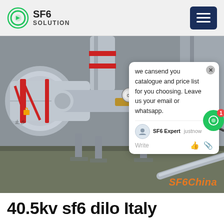SF6 SOLUTION
[Figure (photo): Industrial SF6 gas equipment photo showing large grey cylindrical pipes and valves with red bands/seals, brass fittings, and metal structural components. Watermark reads SF6China in orange.]
we cansend you catalogue and price list for you choosing. Leave us your email or whatsapp.
SF6 Expert  justnow
Write
40.5kv sf6 dilo Italy